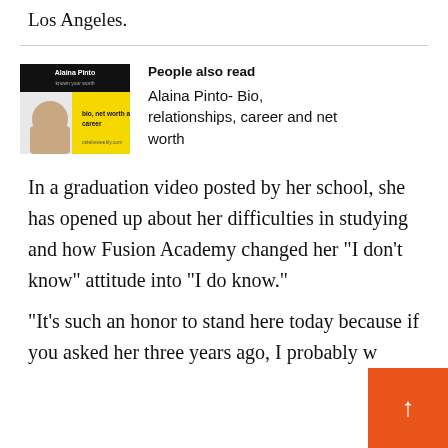Los Angeles.
[Figure (photo): Thumbnail image of Alaina Pinto with text overlay 'Alaina Pinto bio, net worth and career' on yellow background]
People also read
Alaina Pinto- Bio, relationships, career and net worth
In a graduation video posted by her school, she has opened up about her difficulties in studying and how Fusion Academy changed her “I don’t know” attitude into “I do know.”
“It’s such an honor to stand here today because if you asked her three years ago, I probably w... say I couldn’t be here.” So she said in her